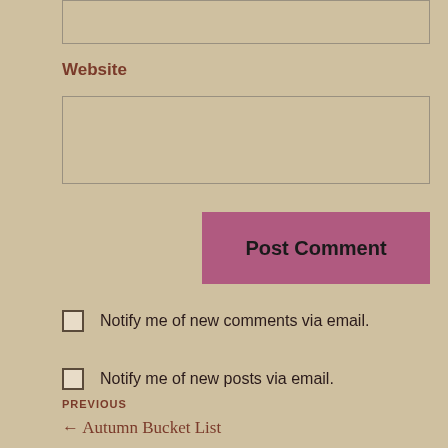[Figure (other): Empty text input box at top of page (partially visible)]
Website
[Figure (other): Website text input box (empty)]
Post Comment
Notify me of new comments via email.
Notify me of new posts via email.
PREVIOUS
← Autumn Bucket List